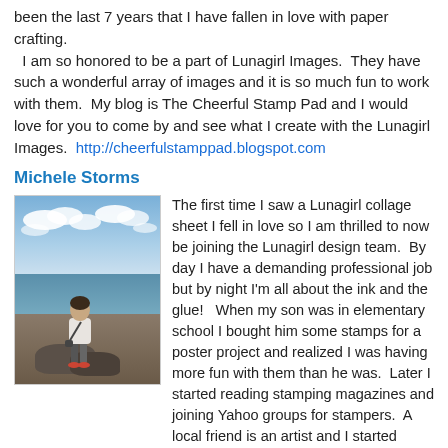been the last 7 years that I have fallen in love with paper crafting.
  I am so honored to be a part of Lunagirl Images.  They have such a wonderful array of images and it is so much fun to work with them.  My blog is The Cheerful Stamp Pad and I would love for you to come by and see what I create with the Lunagirl Images.  http://cheerfulstamppad.blogspot.com
Michele Storms
[Figure (photo): Photo of a woman standing on rocks near a body of water with sky and clouds in the background]
The first time I saw a Lunagirl collage sheet I fell in love so I am thrilled to now be joining the Lunagirl design team.  By day I have a demanding professional job but by night I'm all about the ink and the glue!   When my son was in elementary school I bought him some stamps for a poster project and realized I was having more fun with them than he was.  Later I started reading stamping magazines and joining Yahoo groups for stampers.  A local friend is an artist and I started having collage play time with her.  Over the years I've tried a few local art classes.  By the time my son was in college I was getting quite serious about my "hobby"